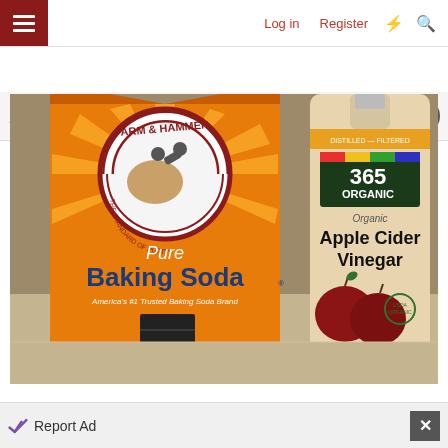Log in  Register
Around The Web
[Figure (photo): Photo of Arm & Hammer Pure Baking Soda box and 365 Organic Apple Cider Vinegar bottle side by side on a surface]
Report Ad